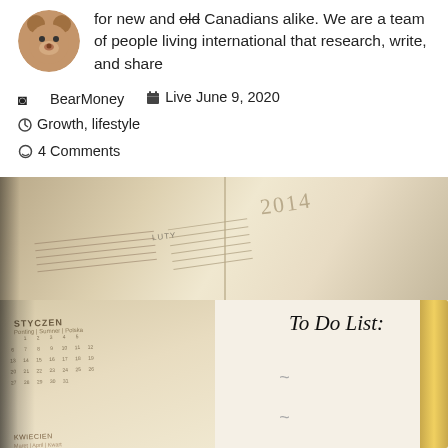for new and old Canadians alike. We are a team of people living international that research, write, and share
BearMoney  Live June 9, 2020  Growth, lifestyle  4 Comments
[Figure (photo): Open 2014 planner/calendar with visible month pages (STYCZEN visible) and a notepad showing 'To Do List:' with blank lines, gold spine visible on right]